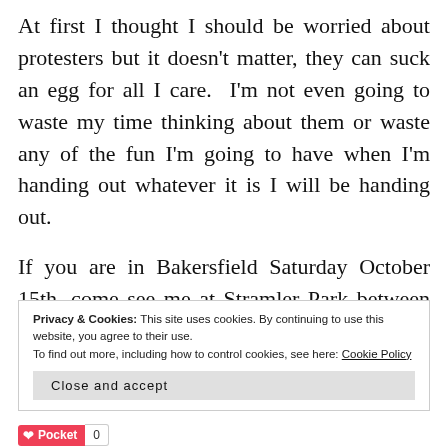At first I thought I should be worried about protesters but it doesn't matter, they can suck an egg for all I care.  I'm not even going to waste my time thinking about them or waste any of the fun I'm going to have when I'm handing out whatever it is I will be handing out.
If you are in Bakersfield Saturday October 15th, come see me at Stramler Park between 1-4pm.  I'll be the bald guy with the glasses.
Privacy & Cookies: This site uses cookies. By continuing to use this website, you agree to their use.
To find out more, including how to control cookies, see here: Cookie Policy
Close and accept
Pocket 0